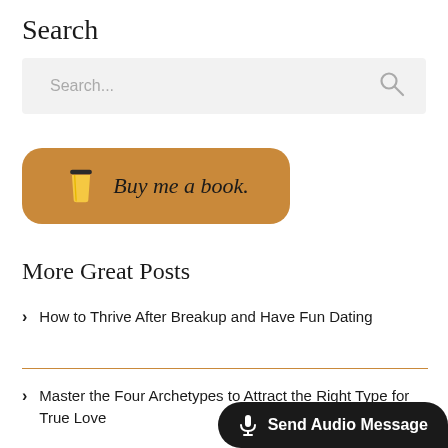Search
[Figure (screenshot): Search input box with placeholder text 'Search...' and a magnifying glass icon on a light gray background]
[Figure (illustration): Orange/tan rounded button with a coffee cup icon and cursive text 'Buy me a book.']
More Great Posts
How to Thrive After Breakup and Have Fun Dating
Master the Four Archetypes to Attract the Right Type for True Love
[Figure (screenshot): Dark rounded button at bottom right with microphone icon and text 'Send Audio Message']